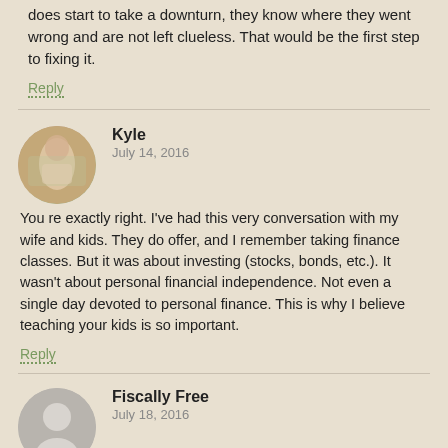does start to take a downturn, they know where they went wrong and are not left clueless. That would be the first step to fixing it.
Reply
Kyle
July 14, 2016
You re exactly right. I've had this very conversation with my wife and kids. They do offer, and I remember taking finance classes. But it was about investing (stocks, bonds, etc.). It wasn't about personal financial independence. Not even a single day devoted to personal finance. This is why I believe teaching your kids is so important.
Reply
Fiscally Free
July 18, 2016
I completely agree. I can't believe how little most people know about even the the most basic personal finance principles.
These things should be mandatory basic